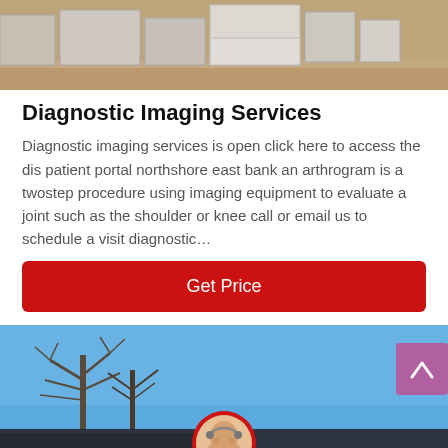[Figure (photo): Top portion of a photo showing shelving units or storage boxes in a facility, tan/brown tones]
Diagnostic Imaging Services
Diagnostic imaging services is open click here to access the dis patient portal northshore east bank an arthrogram is a twostep procedure using imaging equipment to evaluate a joint such as the shoulder or knee call or email us to schedule a visit diagnostic…
[Figure (other): Red 'Get Price' call-to-action button]
[Figure (photo): Bottom image showing a blue sky with bare winter trees on the left, a scroll-to-top button (purple/mauve) on the right, and a bottom bar with 'Leave Message', customer service avatar, and 'Chat Online']